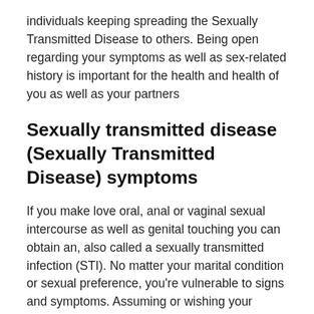individuals keeping spreading the Sexually Transmitted Disease to others. Being open regarding your symptoms as well as sex-related history is important for the health and health of you as well as your partners
Sexually transmitted disease (Sexually Transmitted Disease) symptoms
If you make love oral, anal or vaginal sexual intercourse as well as genital touching you can obtain an, also called a sexually transmitted infection (STI). No matter your marital condition or sexual preference, you're vulnerable to signs and symptoms. Assuming or wishing your